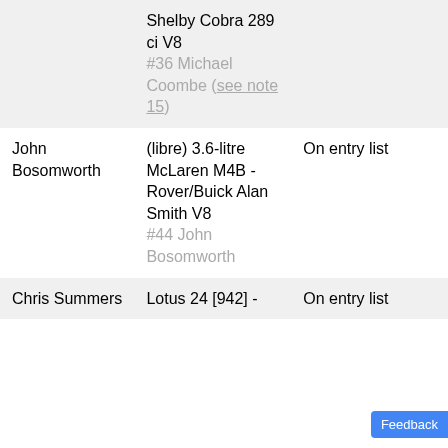|  | Shelby Cobra 289 ci V8
#36 Michael Coombe (see note 15) |  |
| John Bosomworth | (libre) 3.6-litre McLaren M4B - Rover/Buick Alan Smith V8
#44 John Bosomworth | On entry list |
| Chris Summers | Lotus 24 [942] - | On entry list |